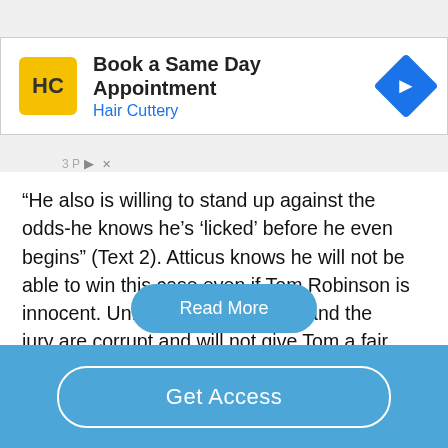[Figure (screenshot): Hair Cuttery advertisement banner: HC logo in yellow square, 'Book a Same Day Appointment' in bold, 'Hair Cuttery' in blue, blue diamond arrow icon]
“He also is willing to stand up against the odds-he knows he’s ‘licked’ before he even begins” (Text 2). Atticus knows he will not be able to win this case even if Tom Robinson is innocent. Unfortunately the town and the jury are corrupt and will not give Tom a fair trial. Almost anyone can see that Atticus Finch defends Tom Robinson to show compassion through the “Golden Rule” and set an example for his children....
Read More
Get Access